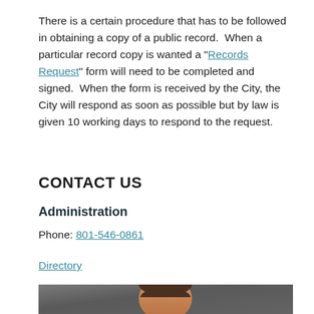There is a certain procedure that has to be followed in obtaining a copy of a public record.  When a particular record copy is wanted a "Records Request" form will need to be completed and signed.  When the form is received by the City, the City will respond as soon as possible but by law is given 10 working days to respond to the request.
CONTACT US
Administration
Phone: 801-546-0861
Directory
[Figure (photo): Portrait photo of a man with dark hair against a dark gray background, showing head and upper torso.]